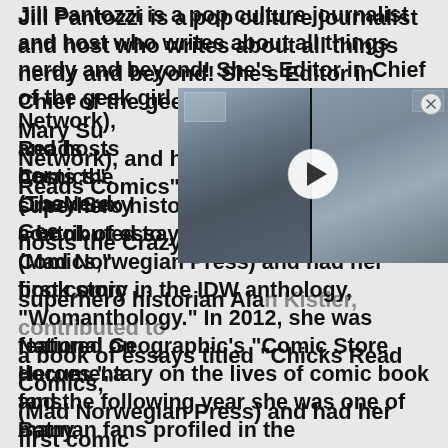Jill Pantozzi is a pop culture journalist and host who writes about all things nerdy and beyond! She's Editor in Chief of the geek girl culture site The Mary Sue (Geek and Sundry Network), and hosts her own show "Jill Reads Comics" (TheNerdyBird.com). She also hosts the Crazy Sexy Geeks podcast with superhero historian Alan Kistler, contributed to a book of essays titled "Chicks Read Comics," (Mad Norwegian Press) and had her first comic book story in the IDW anthology, "Womanthology." In 2012, she was featured on National Geographic's "Comic Store Heroes," a documentary on the lives of comic book fans and the following year she was one of many Batman fans profiled in the documentary, "Legends of the Knight."
[Figure (screenshot): Embedded video player showing two women in a split-screen format with a play button in the center. Left panel shows a woman in black top, right panel shows another woman. Dark border surrounds the video.]